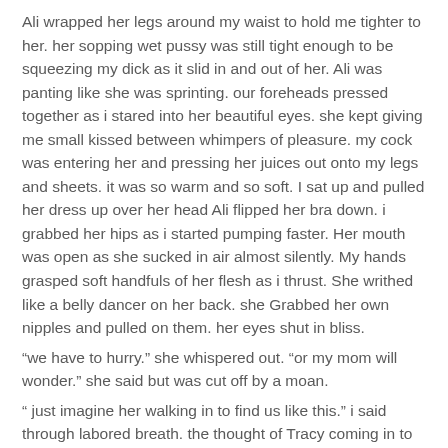Ali wrapped her legs around my waist to hold me tighter to her. her sopping wet pussy was still tight enough to be squeezing my dick as it slid in and out of her. Ali was panting like she was sprinting. our foreheads pressed together as i stared into her beautiful eyes. she kept giving me small kissed between whimpers of pleasure. my cock was entering her and pressing her juices out onto my legs and sheets. it was so warm and so soft. I sat up and pulled her dress up over her head Ali flipped her bra down. i grabbed her hips as i started pumping faster. Her mouth was open as she sucked in air almost silently. My hands grasped soft handfuls of her flesh as i thrust. She writhed like a belly dancer on her back. she Grabbed her own nipples and pulled on them. her eyes shut in bliss.
“we have to hurry.” she whispered out. “or my mom will wonder.” she said but was cut off by a moan.
“ just imagine her walking in to find us like this.” i said through labored breath. the thought of Tracy coming in to find me balls deep in her daughter was absolutely thrilling. and it